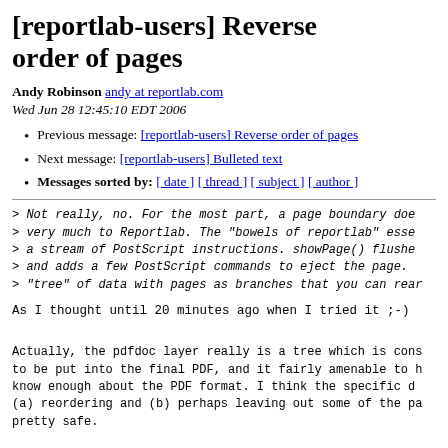[reportlab-users] Reverse order of pages
Andy Robinson andy at reportlab.com
Wed Jun 28 12:45:10 EDT 2006
Previous message: [reportlab-users] Reverse order of pages
Next message: [reportlab-users] Bulleted text
Messages sorted by: [ date ] [ thread ] [ subject ] [ author ]
> Not really, no.  For the most part, a page boundary doe
> very much to Reportlab.  The "bowels of reportlab" esse
> a stream of PostScript instructions.  showPage() flushe
> and adds a few PostScript commands to eject the page.
> "tree" of data with pages as branches that you can rear
As I thought until 20 minutes ago when I tried it ;-)
Actually, the pdfdoc layer really is a tree which is cons
to be put into the final PDF, and it fairly amenable to h
know enough about the PDF format.  I think the specific d
(a) reordering and (b) perhaps leaving out some of the pa
pretty safe.